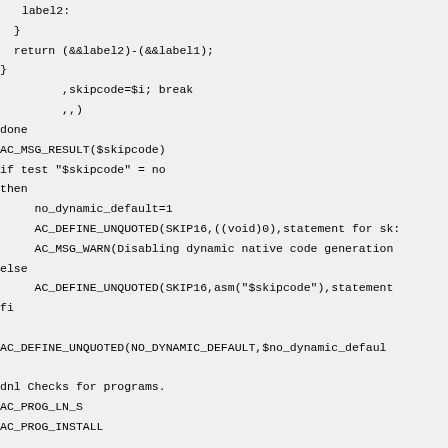label2:
  }
  return (&&label2)-(&&label1);
}
         ,skipcode=$i; break
         ,,)
done
AC_MSG_RESULT($skipcode)
if test "$skipcode" = no
then
     no_dynamic_default=1
     AC_DEFINE_UNQUOTED(SKIP16,((void)0),statement for sk:
     AC_MSG_WARN(Disabling dynamic native code generation
else
     AC_DEFINE_UNQUOTED(SKIP16,asm("$skipcode"),statement
fi

AC_DEFINE_UNQUOTED(NO_DYNAMIC_DEFAULT,$no_dynamic_defaul

dnl Checks for programs.
AC_PROG_LN_S
AC_PROG_INSTALL

dnl Checks for library functions
dnl This check is just for making later checks link with
dnl using sin here is no good idea since it is built-int
AC_CHECK_LIB(m,asin)
AC_CHECK_LIB(dl,dlopen)
dnl check for ffcall libraries
dnl unfortunately, these four calls are separated out in